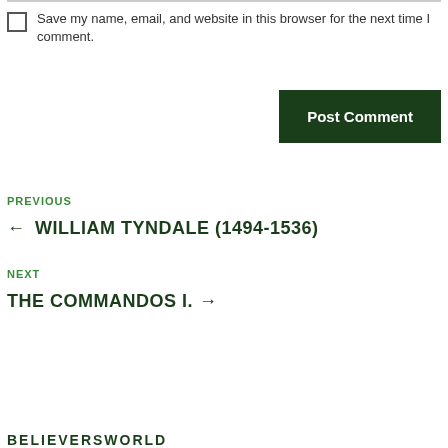Save my name, email, and website in this browser for the next time I comment.
Post Comment
PREVIOUS
← WILLIAM TYNDALE (1494-1536)
NEXT
THE COMMANDOS I. →
BELIEVERSWORLD